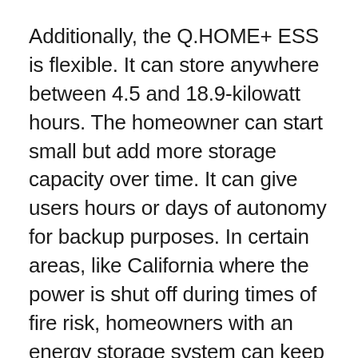Additionally, the Q.HOME+ ESS is flexible. It can store anywhere between 4.5 and 18.9-kilowatt hours. The homeowner can start small but add more storage capacity over time. It can give users hours or days of autonomy for backup purposes. In certain areas, like California where the power is shut off during times of fire risk, homeowners with an energy storage system can keep their lights on.
You can't go wrong with the cost savings. Typical return on investment for solar is around seven years, and a storage system